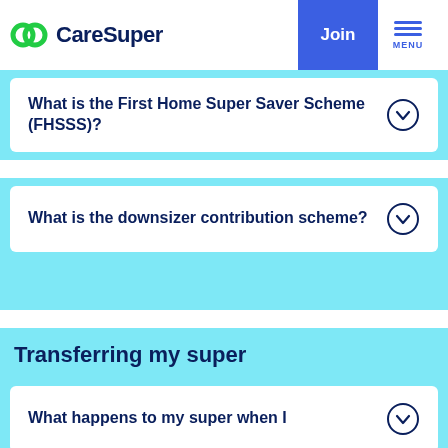CareSuper
What is the First Home Super Saver Scheme (FHSSS)?
What is the downsizer contribution scheme?
Transferring my super
What happens to my super when I